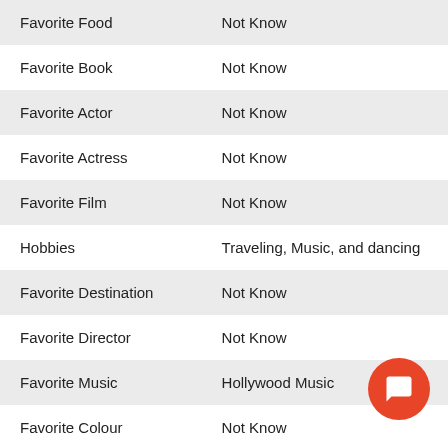| Category | Value |
| --- | --- |
| Favorite Food | Not Know |
| Favorite Book | Not Know |
| Favorite Actor | Not Know |
| Favorite Actress | Not Know |
| Favorite Film | Not Know |
| Hobbies | Traveling, Music, and dancing |
| Favorite Destination | Not Know |
| Favorite Director | Not Know |
| Favorite Music | Hollywood Music |
| Favorite Colour | Not Know |